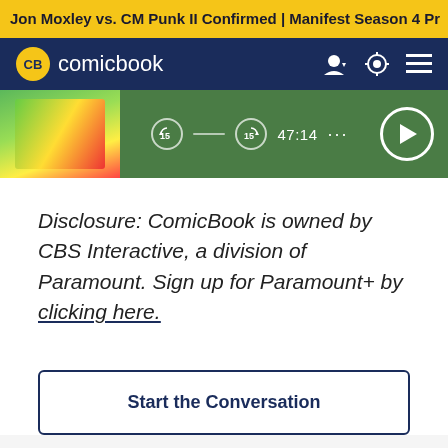Jon Moxley vs. CM Punk II Confirmed | Manifest Season 4 Pr
[Figure (screenshot): ComicBook.com navigation bar with yellow CB logo circle and site name in white on dark navy background, with user icon, theme toggle, and hamburger menu icons]
[Figure (screenshot): Podcast player bar with green background showing a colorful thumbnail image on the left, skip back 15s, skip forward 15s controls, time display 47:14, dots menu, and circular play button]
Disclosure: ComicBook is owned by CBS Interactive, a division of Paramount. Sign up for Paramount+ by clicking here.
Start the Conversation